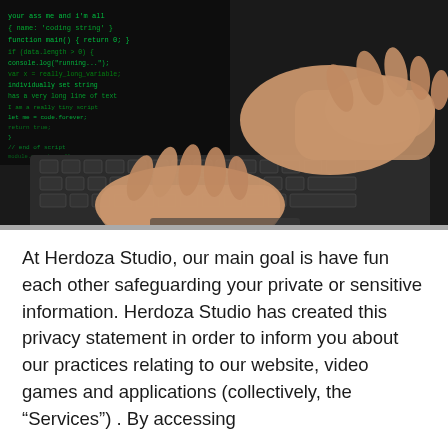[Figure (photo): Photo of hands typing on a laptop keyboard with green code/text visible on the screen in a dark background]
At Herdoza Studio, our main goal is have fun each other safeguarding your private or sensitive information. Herdoza Studio has created this privacy statement in order to inform you about our practices relating to our website, video games and applications (collectively, the “Services”) . By accessing